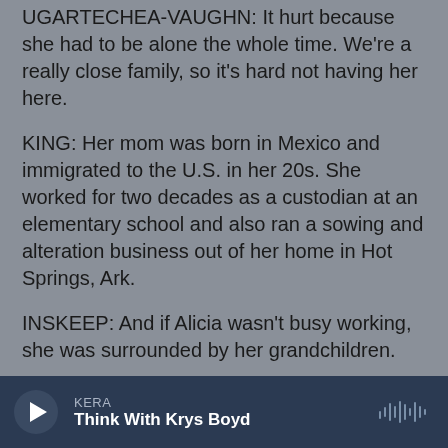UGARTECHEA-VAUGHN: It hurt because she had to be alone the whole time. We're a really close family, so it's hard not having her here.
KING: Her mom was born in Mexico and immigrated to the U.S. in her 20s. She worked for two decades as a custodian at an elementary school and also ran a sowing and alteration business out of her home in Hot Springs, Ark.
INSKEEP: And if Alicia wasn't busy working, she was surrounded by her grandchildren.
(SOUNDBITE OF ARCHIVED RECORDING)
ALICIA UGARTECHEA: Who's my baby?
KERA — Think With Krys Boyd